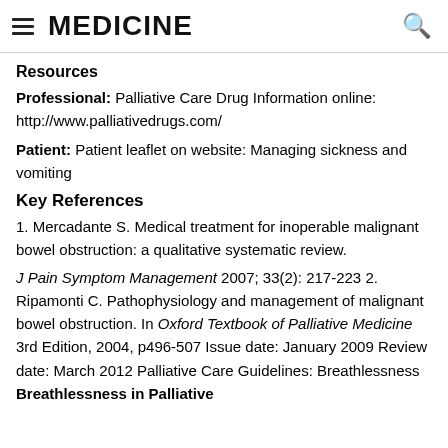MEDICINE
Resources
Professional: Palliative Care Drug Information online: http://www.palliativedrugs.com/
Patient: Patient leaflet on website: Managing sickness and vomiting
Key References
1. Mercadante S. Medical treatment for inoperable malignant bowel obstruction: a qualitative systematic review.
J Pain Symptom Management 2007; 33(2): 217-223 2. Ripamonti C. Pathophysiology and management of malignant bowel obstruction. In Oxford Textbook of Palliative Medicine 3rd Edition, 2004, p496-507 Issue date: January 2009 Review date: March 2012 Palliative Care Guidelines: Breathlessness Breathlessness in Palliative